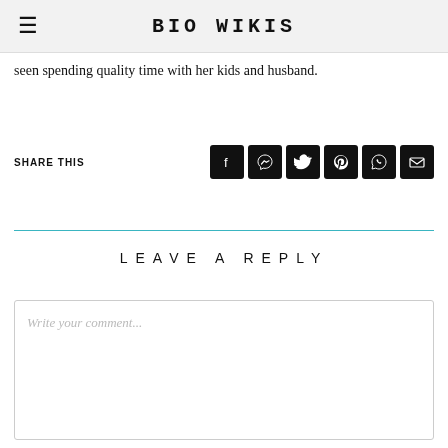BIO WIKIS
seen spending quality time with her kids and husband.
SHARE THIS
[Figure (other): Social share buttons: Facebook, Messenger, Twitter, Pinterest, WhatsApp, Email]
LEAVE A REPLY
Write your comment...